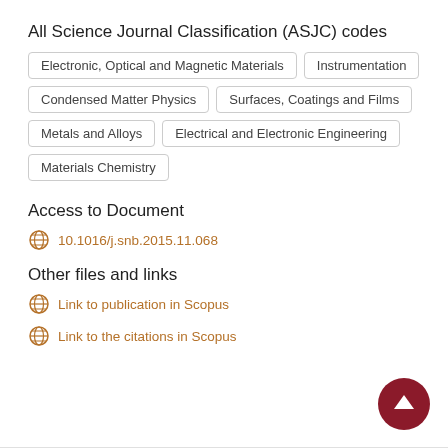All Science Journal Classification (ASJC) codes
Electronic, Optical and Magnetic Materials
Instrumentation
Condensed Matter Physics
Surfaces, Coatings and Films
Metals and Alloys
Electrical and Electronic Engineering
Materials Chemistry
Access to Document
10.1016/j.snb.2015.11.068
Other files and links
Link to publication in Scopus
Link to the citations in Scopus